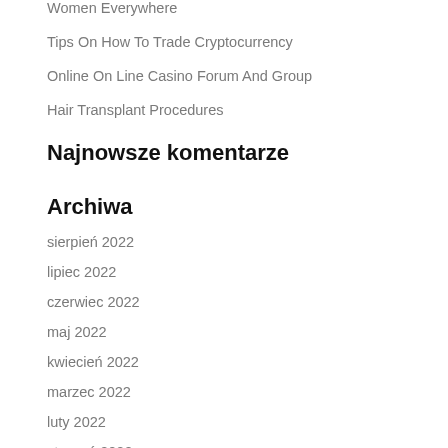Women Everywhere
Tips On How To Trade Cryptocurrency
Online On Line Casino Forum And Group
Hair Transplant Procedures
Najnowsze komentarze
Archiwa
sierpień 2022
lipiec 2022
czerwiec 2022
maj 2022
kwiecień 2022
marzec 2022
luty 2022
styczeń 2022